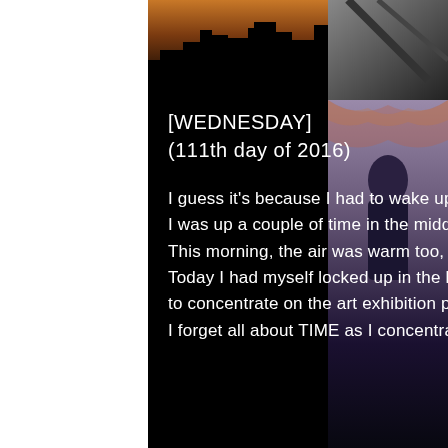[Figure (photo): Dark cityscape silhouette photo at top, warm sunset glow visible, building outlines against sky]
[Figure (photo): Small inset photo top right showing crane or structure silhouette]
[Figure (photo): Right side photo strip showing blurred colorful scene, dark blue tones]
[WEDNESDAY]
(111th day of 2016)
I guess it's because I had to wake up very early many times recently,
I was up a couple of time in the middle of the night last night.
This morning, the air was warm too, and the morning sky was blue and calm.
Today I had myself locked up in the house...
to concentrate on the art exhibition pieces.
I forget all about TIME as I concentrate